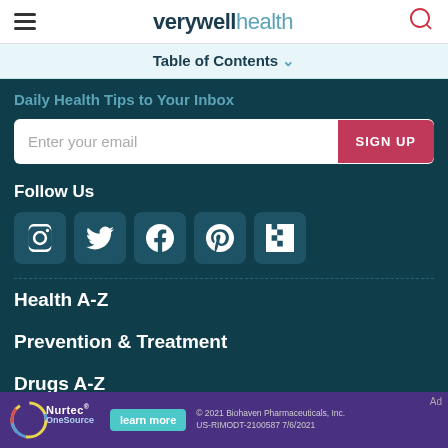verywell health
Table of Contents
Daily Health Tips to Your Inbox
Enter your email | SIGN UP
Follow Us
[Figure (other): Social media icons: Instagram, Twitter, Facebook, Pinterest, Flipboard]
Health A-Z
Prevention & Treatment
Drugs A-Z
Health Care
[Figure (other): Nurtec OneSource advertisement banner. learn more button. © 2021 Biohaven Pharmaceuticals, Inc. US-RIMODT-2100587 7/6/2021]